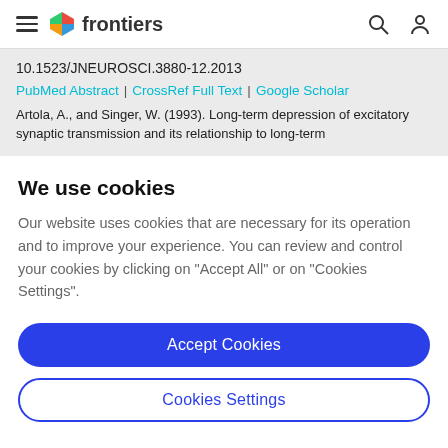frontiers
10.1523/JNEUROSCI.3880-12.2013
PubMed Abstract | CrossRef Full Text | Google Scholar
Artola, A., and Singer, W. (1993). Long-term depression of excitatory synaptic transmission and its relationship to long-term
We use cookies
Our website uses cookies that are necessary for its operation and to improve your experience. You can review and control your cookies by clicking on "Accept All" or on "Cookies Settings".
Accept Cookies
Cookies Settings